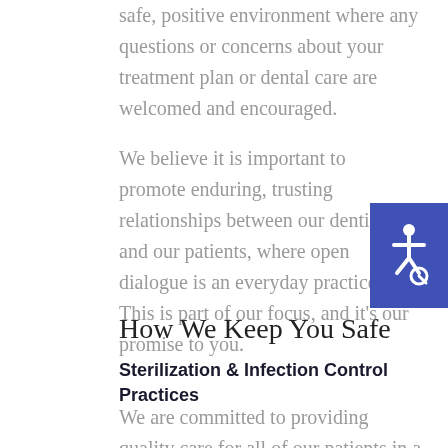safe, positive environment where any questions or concerns about your treatment plan or dental care are welcomed and encouraged.
We believe it is important to promote enduring, trusting relationships between our dentists and our patients, where open dialogue is an everyday practice. This is part of our focus, and it’s our promise to you.
[Figure (illustration): Accessibility wheelchair icon in white on a blue/indigo square background]
How We Keep You Safe
Sterilization & Infection Control Practices
We are committed to providing quality care for all of our patients in a safe, clean and